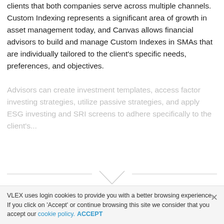clients that both companies serve across multiple channels. Custom Indexing represents a significant area of growth in asset management today, and Canvas allows financial advisors to build and manage Custom Indexes in SMAs that are individually tailored to the client's specific needs, preferences, and objectives.
Advisors can create investment templates, access factor investing strategies, utilize passive strategies, and apply ESG investing and SRI screens to adhere specifically to the client's...
To continue reading
[Figure (other): Request your trial button with teal-to-green gradient]
VLEX uses login cookies to provide you with a better browsing experience. If you click on 'Accept' or continue browsing this site we consider that you accept our cookie policy. ACCEPT